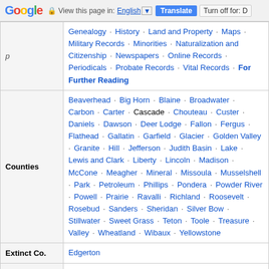Google | View this page in: English | Translate | Turn off for: D
| Category | Content |
| --- | --- |
|  | Genealogy · History · Land and Property · Maps · Military Records · Minorities · Naturalization and Citizenship · Newspapers · Online Records · Periodicals · Probate Records · Vital Records · For Further Reading |
| Counties | Beaverhead · Big Horn · Blaine · Broadwater · Carbon · Carter · Cascade · Chouteau · Custer · Daniels · Dawson · Deer Lodge · Fallon · Fergus · Flathead · Gallatin · Garfield · Glacier · Golden Valley · Granite · Hill · Jefferson · Judith Basin · Lake · Lewis and Clark · Liberty · Lincoln · Madison · McCone · Meagher · Mineral · Missoula · Musselshell · Park · Petroleum · Phillips · Pondera · Powder River · Powell · Prairie · Ravalli · Richland · Roosevelt · Rosebud · Sanders · Sheridan · Silver Bow · Stillwater · Sweet Grass · Teton · Toole · Treasure · Valley · Wheatland · Wibaux · Yellowstone |
| Extinct Co. | Edgerton |
| Major Repositories | Montana State Archives · Library of Montana · National Archives at Denver · Family History Library |